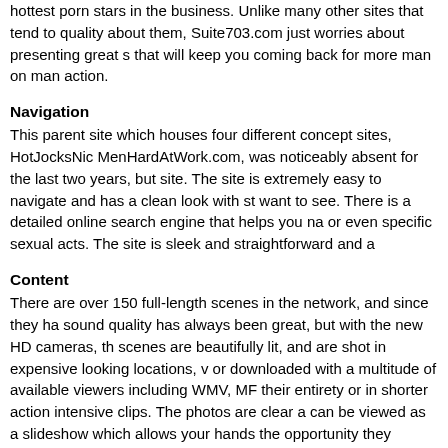hottest porn stars in the business. Unlike many other sites that tend to quality about them, Suite703.com just worries about presenting great s that will keep you coming back for more man on man action.
Navigation
This parent site which houses four different concept sites, HotJocksNic MenHardAtWork.com, was noticeably absent for the last two years, but site. The site is extremely easy to navigate and has a clean look with st want to see. There is a detailed online search engine that helps you na or even specific sexual acts. The site is sleek and straightforward and a
Content
There are over 150 full-length scenes in the network, and since they ha sound quality has always been great, but with the new HD cameras, th scenes are beautifully lit, and are shot in expensive looking locations, v or downloaded with a multitude of available viewers including WMV, MF their entirety or in shorter action intensive clips. The photos are clear a can be viewed as a slideshow which allows your hands the opportunity they capture all of the amazing sex that is taking place in the scenes.
Guys And Sex
When it comes to men and sex, Suite703.com does away with the ama set fire to the sheets. Their stable includes hot classic favorites like Tre Jeremy Bilding, Tommy Defendi, and Rod Dailey. What you get is a wh seem to explode off of the screen. There are a huge variety of guys to c illuminates how much these boys love their jobs. The setups sometime